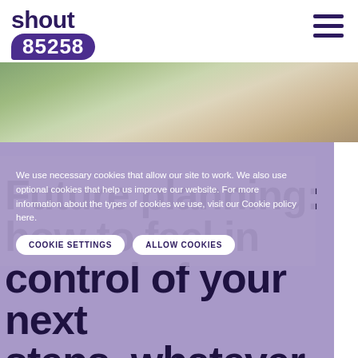[Figure (logo): Shout 85258 logo - text 'shout' above a purple speech bubble containing '85258']
[Figure (photo): Hero banner photo strip showing people outdoors, partially visible at top]
[Figure (infographic): Purple section background for page content]
We use necessary cookies that allow our site to work. We also use optional cookies that help us improve our website. For more information about the types of cookies we use, visit our Cookie policy here.
COOKIE SETTINGS
ALLOW COOKIES
Future planning: how to feel in control of your next steps, whatever they may be